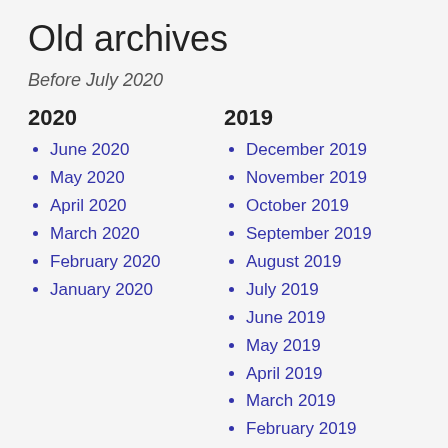Old archives
Before July 2020
2020
June 2020
May 2020
April 2020
March 2020
February 2020
January 2020
2019
December 2019
November 2019
October 2019
September 2019
August 2019
July 2019
June 2019
May 2019
April 2019
March 2019
February 2019
January 2019